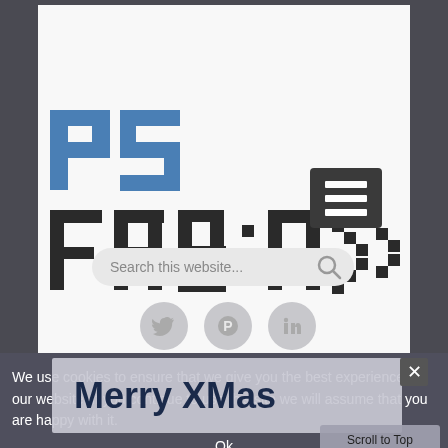[Figure (logo): PS Fabno website logo with pixel-style letters 'PS' in blue and dark 'FABNO' wordmark with arrow-like pixel characters]
[Figure (screenshot): Hamburger menu button (three horizontal lines on dark background)]
[Figure (screenshot): Search bar with placeholder text 'Search this website...' and search icon]
[Figure (screenshot): Social media icons: Twitter, Pinterest, LinkedIn]
We use cookies to ensure that we give you the best experience on our website. If you continue to use this site we will assume that you are happy with it.
Ok
Merry XMas